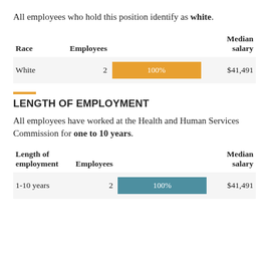All employees who hold this position identify as white.
| Race | Employees |  | Median salary |
| --- | --- | --- | --- |
| White | 2 | 100% | $41,491 |
LENGTH OF EMPLOYMENT
All employees have worked at the Health and Human Services Commission for one to 10 years.
| Length of employment | Employees |  | Median salary |
| --- | --- | --- | --- |
| 1-10 years | 2 | 100% | $41,491 |